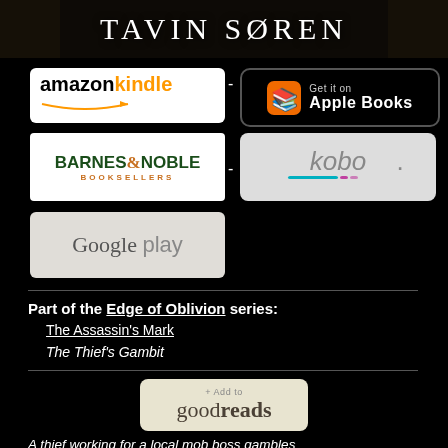[Figure (illustration): Dark header background with author name TAVIN SØREN in decorative serif font]
[Figure (logo): Amazon Kindle retailer button - white background with amazon in black and kindle in orange]
[Figure (logo): Apple Books - Get it on Apple Books button, black with orange book icon]
[Figure (logo): Barnes & Noble Booksellers button - white background with green and orange text]
[Figure (logo): Kobo logo button - light background with kobo wordmark in gray with teal and pink accents]
[Figure (logo): Google Play button - light background with Google play text]
Part of the Edge of Oblivion series:
The Assassin's Mark
The Thief's Gambit
[Figure (logo): + Add to goodreads button - tan/beige background]
A thief working for a local mob boss gambles